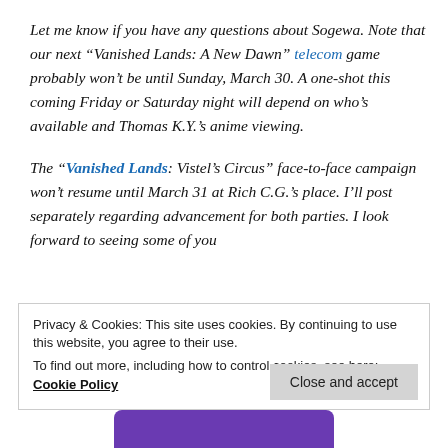Let me know if you have any questions about Sogewa. Note that our next “Vanished Lands: A New Dawn” telecom game probably won’t be until Sunday, March 30. A one-shot this coming Friday or Saturday night will depend on who’s available and Thomas K.Y.’s anime viewing.
The “Vanished Lands: Vistel’s Circus” face-to-face campaign won’t resume until March 31 at Rich C.G.’s place. I’ll post separately regarding advancement for both parties. I look forward to seeing some of you
Privacy & Cookies: This site uses cookies. By continuing to use this website, you agree to their use.
To find out more, including how to control cookies, see here: Cookie Policy
Close and accept